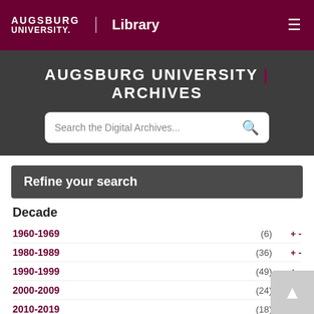Augsburg University Library
AUGSBURG UNIVERSITY | ARCHIVES
Search the Digital Archives...
Refine your search
Decade
1960-1969 (6) + -
1980-1989 (36) + -
1990-1999 (49) + -
2000-2009 (24) + -
2010-2019 (18) + -
Collection